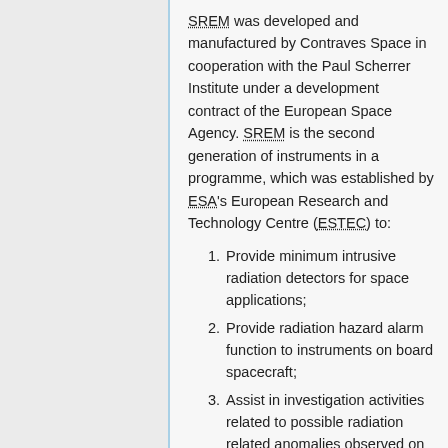SREM was developed and manufactured by Contraves Space in cooperation with the Paul Scherrer Institute under a development contract of the European Space Agency. SREM is the second generation of instruments in a programme, which was established by ESA's European Research and Technology Centre (ESTEC) to:
Provide minimum intrusive radiation detectors for space applications;
Provide radiation hazard alarm function to instruments on board spacecraft;
Assist in investigation activities related to possible radiation related anomalies observed on spacecraft;
Assist in in-flight Technology...